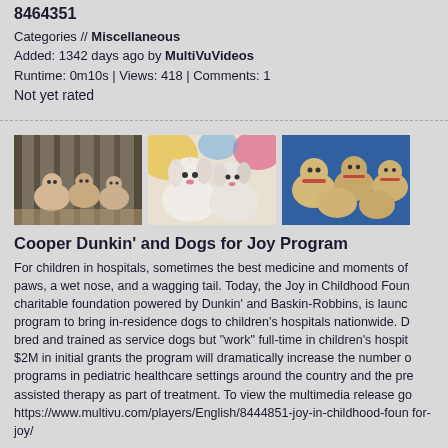8464351
Categories // Miscellaneous
Added: 1342 days ago by MultiVuVideos
Runtime: 0m10s | Views: 418 | Comments: 1
Not yet rated
[Figure (photo): Three puppies in a cage/kennel looking out]
[Figure (photo): Two white fluffy puppies close up with colorful background]
[Figure (photo): Group of yellow lab puppies from above with blue background]
Cooper Dunkin' and Dogs for Joy Program
For children in hospitals, sometimes the best medicine and moments of paws, a wet nose, and a wagging tail. Today, the Joy in Childhood Foun charitable foundation powered by Dunkin' and Baskin-Robbins, is launc program to bring in-residence dogs to children's hospitals nationwide. D bred and trained as service dogs but "work" full-time in children's hospit $2M in initial grants the program will dramatically increase the number o programs in pediatric healthcare settings around the country and the pre assisted therapy as part of treatment. To view the multimedia release go https://www.multivu.com/players/English/8444851-joy-in-childhood-foun for-joy/
Tags // dunkin dogs pets childrens hospital for joy healthcare h 8444851
Categories // Miscellaneous
Added: 1347 days ago by MultiVuVideos
Runtime: 1m31s | Views: 469 | Comments: 2
Not yet rated